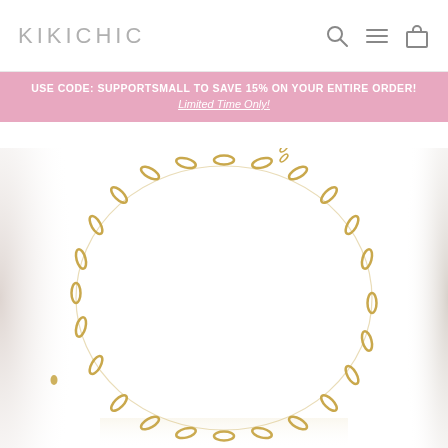KIKICHIC
USE CODE: SUPPORTSMALL TO SAVE 15% ON YOUR ENTIRE ORDER!
Limited Time Only!
[Figure (photo): Gold paperclip chain link necklace displayed in a circular shape on a white background, with an extender chain visible at the top. Partial views of other jewelry items visible on the left and right edges.]